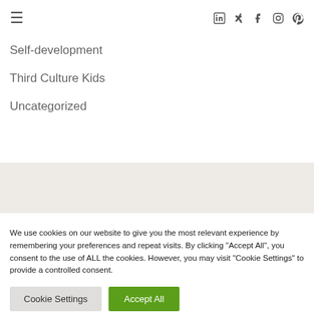≡  [LinkedIn] [Xing] [Facebook] [Instagram] [Pinterest]
Self-development
Third Culture Kids
Uncategorized
We use cookies on our website to give you the most relevant experience by remembering your preferences and repeat visits. By clicking "Accept All", you consent to the use of ALL the cookies. However, you may visit "Cookie Settings" to provide a controlled consent.
Cookie Settings  Accept All